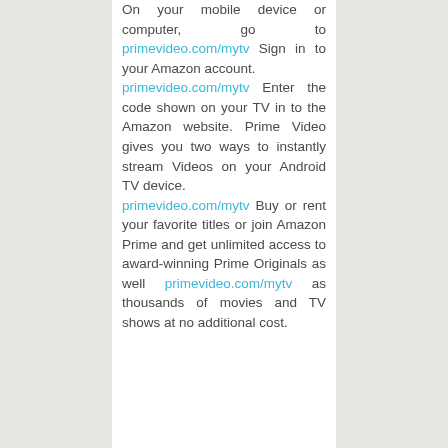On your mobile device or computer, go to primevideo.com/mytv Sign in to your Amazon account. primevideo.com/mytv Enter the code shown on your TV in to the Amazon website. Prime Video gives you two ways to instantly stream Videos on your Android TV device. primevideo.com/mytv Buy or rent your favorite titles or join Amazon Prime and get unlimited access to award-winning Prime Originals as well primevideo.com/mytv as thousands of movies and TV shows at no additional cost.